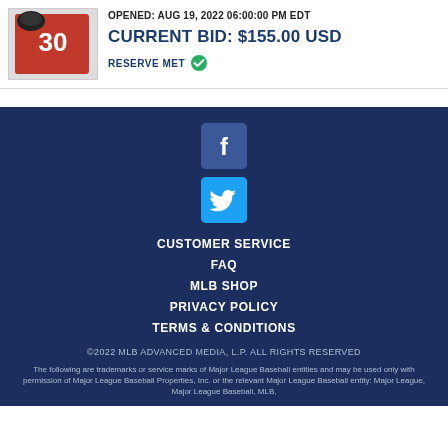[Figure (photo): Product image of a baseball jersey/item with number 30 in red]
OPENED: AUG 19, 2022 06:00:00 PM EDT
CURRENT BID: $155.00 USD
RESERVE MET
CUSTOMER SERVICE
FAQ
MLB SHOP
PRIVACY POLICY
TERMS & CONDITIONS
©2022 MLB ADVANCED MEDIA, L.P. ALL RIGHTS RESERVED
The following are trademarks or service marks of Major League Baseball entities and may be used only with permission of Major League Baseball Properties, Inc. or the relevant Major League Baseball entity: Major League, Major League Baseball, MLB,